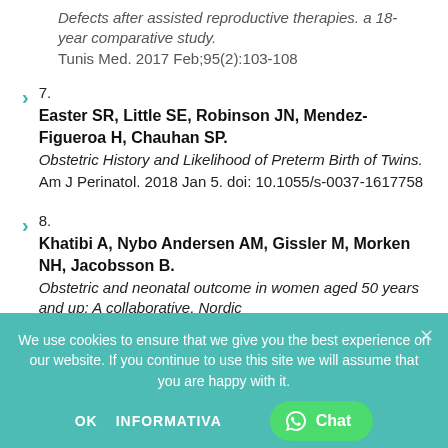Defects after assisted reproductive therapies. a 18-year comparative study.
Tunis Med. 2017 Feb;95(2):103-108
7. Easter SR, Little SE, Robinson JN, Mendez-Figueroa H, Chauhan SP. Obstetric History and Likelihood of Preterm Birth of Twins. Am J Perinatol. 2018 Jan 5. doi: 10.1055/s-0037-1617758
8. Khatibi A, Nybo Andersen AM, Gissler M, Morken NH, Jacobsson B. Obstetric and neonatal outcome in women aged 50 years and up: A collaborative, Nordic
We use cookies to ensure that we give you the best experience on our website. If you continue to use this site we will assume that you are happy with it.
OK INFORMATIVA Chat